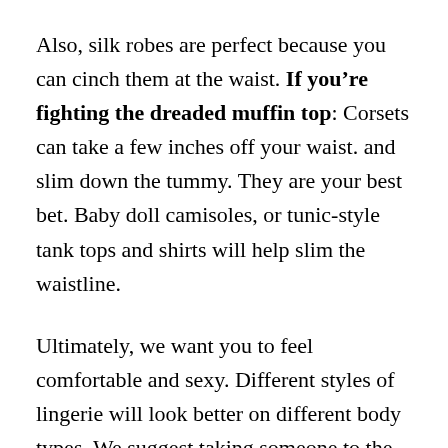Also, silk robes are perfect because you can cinch them at the waist. If you're fighting the dreaded muffin top: Corsets can take a few inches off your waist. and slim down the tummy. They are your best bet. Baby doll camisoles, or tunic-style tank tops and shirts will help slim the waistline.
Ultimately, we want you to feel comfortable and sexy. Different styles of lingerie will look better on different body types. We suggest taking someone to the dressing room with you